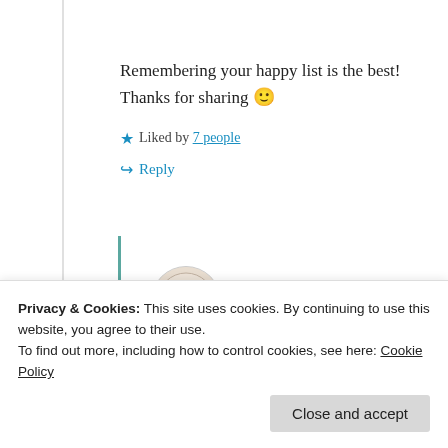Remembering your happy list is the best! Thanks for sharing 🙂
★ Liked by 7 people
↪ Reply
True Living
June 18, 2020 at 8:06 pm
Privacy & Cookies: This site uses cookies. By continuing to use this website, you agree to their use.
To find out more, including how to control cookies, see here: Cookie Policy
Close and accept